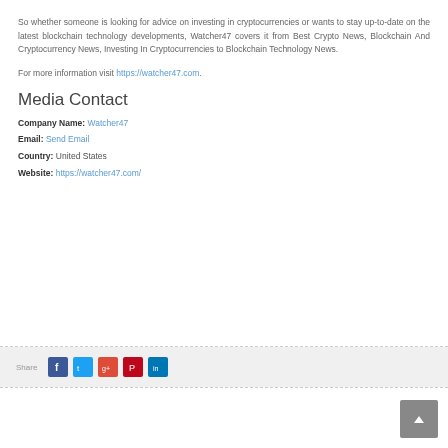So whether someone is looking for advice on investing in cryptocurrencies or wants to stay up-to-date on the latest blockchain technology developments, Watcher47 covers it from Best Crypto News, Blockchain And Cryptocurrency News, Investing In Cryptocurrencies to Blockchain Technology News.
For more information visit https://watcher47.com.
Media Contact
Company Name: Watcher47
Email: Send Email
Country: United States
Website: https://watcher47.com/
[Figure (infographic): Social share bar with Facebook, Twitter, Google+, Pinterest, and LinkedIn icons on grey background]